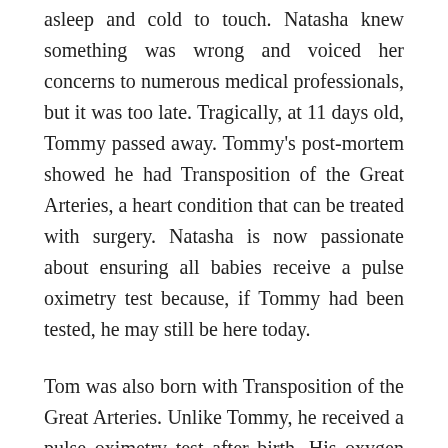asleep and cold to touch. Natasha knew something was wrong and voiced her concerns to numerous medical professionals, but it was too late. Tragically, at 11 days old, Tommy passed away. Tommy's post-mortem showed he had Transposition of the Great Arteries, a heart condition that can be treated with surgery. Natasha is now passionate about ensuring all babies receive a pulse oximetry test because, if Tommy had been tested, he may still be here today.
Tom was also born with Transposition of the Great Arteries. Unlike Tommy, he received a pulse oximetry test after birth. His oxygen saturation levels were dangerously low and his heart condition was diagnosed soon after the test. Tom had open heart surgery at eight days old and is now approaching his third birthday. His mum Nicola, forever grateful for the pulse oximetry test that helped to save his life, says, 'Without the pulse oximetry test, which